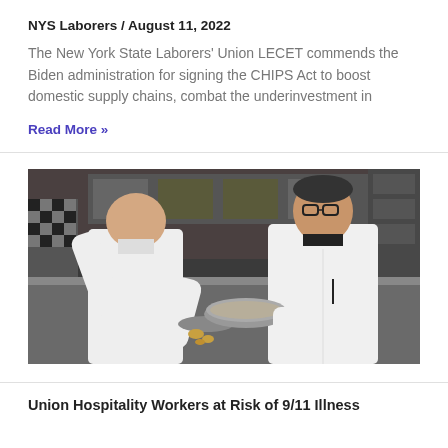NYS Laborers / August 11, 2022
The New York State Laborers' Union LECET commends the Biden administration for signing the CHIPS Act to boost domestic supply chains, combat the underinvestment in
Read More »
[Figure (photo): Two chefs in white uniforms working in a professional kitchen, one tossing food in a pan]
Union Hospitality Workers at Risk of 9/11 Illness